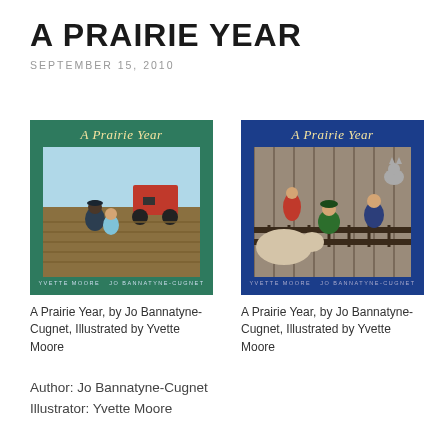A PRAIRIE YEAR
SEPTEMBER 15, 2010
[Figure (photo): Book cover of 'A Prairie Year' with green background, showing two people in a farm field scene]
A Prairie Year, by Jo Bannatyne-Cugnet, Illustrated by Yvette Moore
[Figure (photo): Book cover of 'A Prairie Year' with blue background, showing children and animals in a barn scene]
A Prairie Year, by Jo Bannatyne-Cugnet, Illustrated by Yvette Moore
Author: Jo Bannatyne-Cugnet
Illustrator: Yvette Moore